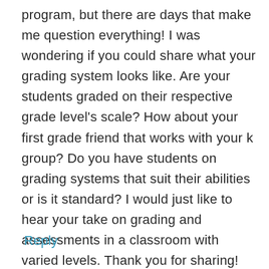program, but there are days that make me question everything! I was wondering if you could share what your grading system looks like. Are your students graded on their respective grade level's scale? How about your first grade friend that works with your k group? Do you have students on grading systems that suit their abilities or is it standard? I would just like to hear your take on grading and assessments in a classroom with varied levels. Thank you for sharing!
Reply